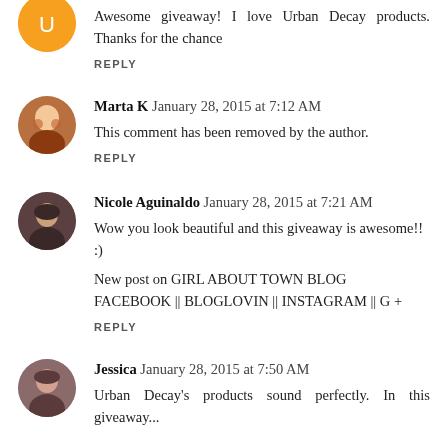Awesome giveaway! I love Urban Decay products. Thanks for the chance
REPLY
Marta K  January 28, 2015 at 7:12 AM
This comment has been removed by the author.
REPLY
Nicole Aguinaldo  January 28, 2015 at 7:21 AM
Wow you look beautiful and this giveaway is awesome!! :)
New post on GIRL ABOUT TOWN BLOG
FACEBOOK || BLOGLOVIN || INSTAGRAM || G +
REPLY
Jessica  January 28, 2015 at 7:50 AM
Urban Decay's products sound perfectly. In this giveaway...